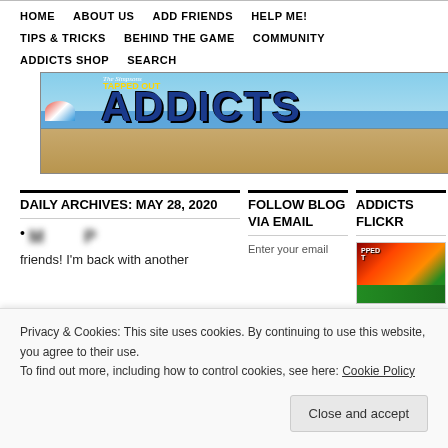HOME | ABOUT US | ADD FRIENDS | HELP ME! | TIPS & TRICKS | BEHIND THE GAME | COMMUNITY | ADDICTS SHOP | SEARCH
[Figure (illustration): The Simpsons Tapped Out Addicts banner with beach scene, cartoon characters, and large ADDICTS text in blue]
DAILY ARCHIVES: MAY 28, 2020
FOLLOW BLOG VIA EMAIL
ADDICTS FLICKR
[blurred article title]
Enter your email
[Figure (screenshot): Addicts Flickr thumbnail image showing game screenshot]
Privacy & Cookies: This site uses cookies. By continuing to use this website, you agree to their use.
To find out more, including how to control cookies, see here: Cookie Policy
Close and accept
friends! I'm back with another